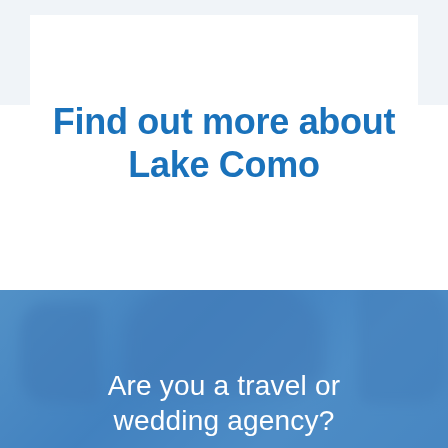Find out more about Lake Como
[Figure (photo): Blue-tinted photo of a person, used as background for the lower section of the page]
Are you a travel or wedding agency?